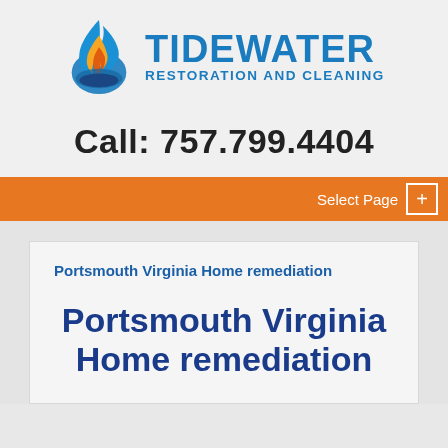[Figure (logo): Tidewater Restoration and Cleaning logo with flame icon and company name in blue]
Call: 757.799.4404
Select Page
Portsmouth Virginia Home remediation
Portsmouth Virginia Home remediation